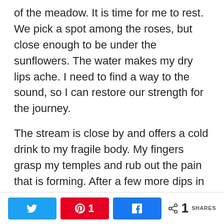of the meadow. It is time for me to rest. We pick a spot among the roses, but close enough to be under the sunflowers. The water makes my dry lips ache. I need to find a way to the sound, so I can restore our strength for the journey.
The stream is close by and offers a cold drink to my fragile body. My fingers grasp my temples and rub out the pain that is forming. After a few more dips in the cold water, my hands clasp some for my horse. This water is unlike anything I have ever
[Figure (infographic): Social share bar with Twitter, Pinterest (count: 1), and Facebook buttons, plus a share icon showing 1 SHARES total]